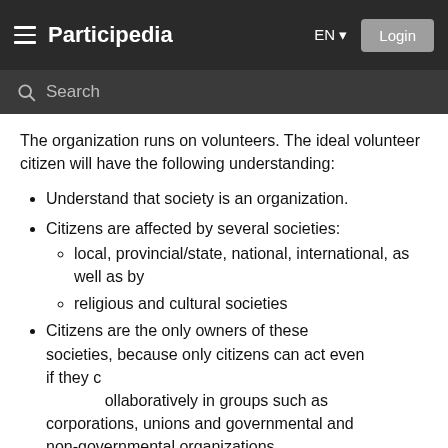Participedia — EN — Login
The organization runs on volunteers. The ideal volunteer citizen will have the following understanding:
Understand that society is an organization.
Citizens are affected by several societies:
local, provincial/state, national, international, as well as by
religious and cultural societies
Citizens are the only owners of these societies, because only citizens can act even if they collaboratively in groups such as corporations, unions and governmental and non-governmental organizations.
Collectivities can only be good collectivities if the